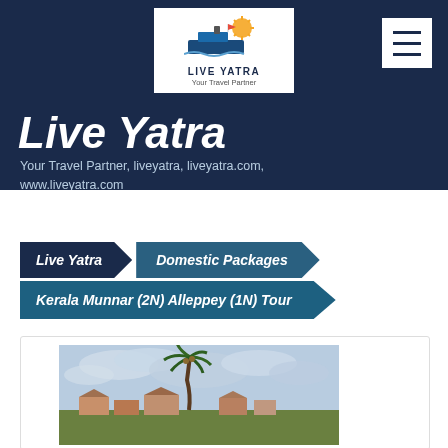[Figure (logo): Live Yatra logo with cruise ship and sun icon, text 'LIVE YATRA Your Travel Partner']
Live Yatra
Your Travel Partner, liveyatra, liveyatra.com, www.liveyatra.com
[Figure (other): Hamburger menu icon (three horizontal lines) in white box]
Live Yatra
Domestic Packages
Kerala Munnar (2N) Alleppey (1N) Tour
[Figure (photo): Outdoor scenic photo showing a palm tree against a cloudy sky with buildings in the background, Kerala landscape]